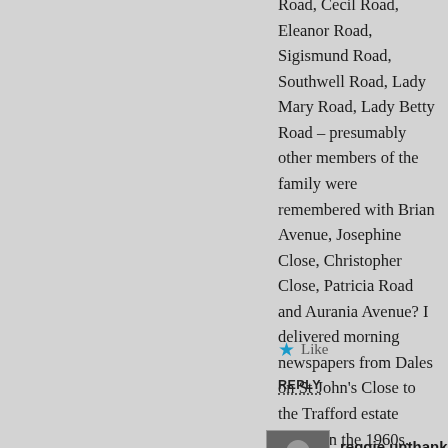Road, Cecil Road, Eleanor Road, Sigismund Road, Southwell Road, Lady Mary Road, Lady Betty Road – presumably other members of the family were remembered with Brian Avenue, Josephine Close, Christopher Close, Patricia Road and Aurania Avenue? I delivered morning newspapers from Dales on St John's Close to the Trafford estate streets in the 1960s.
Like
REPLY
reggie unthank said:
September 1, 2020 at 1:14 pm
Thanks for the interesting comment Paul. It would be consistent if all the streets on the Trafford Estate were named for the family. Have you come across evidence that this might be the case?
Like